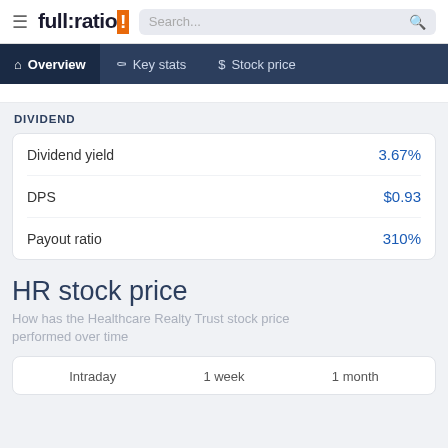full:ratio | Search...
Overview | Key stats | Stock price
DIVIDEND
|  |  |
| --- | --- |
| Dividend yield | 3.67% |
| DPS | $0.93 |
| Payout ratio | 310% |
HR stock price
How has the Healthcare Realty Trust stock price performed over time
Intraday    1 week    1 month